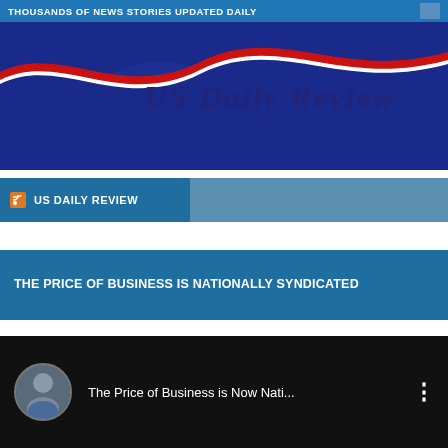THOUSANDS OF NEWS STORIES UPDATED DAILY
[Figure (logo): US Daily Review logo banner with red, white and blue wave design on dark blue background]
US DAILY REVIEW (RSS feed bar)
THE PRICE OF BUSINESS IS NATIONALLY SYNDICATED
[Figure (screenshot): Video thumbnail showing The Price of Business is Now Nati... with circular avatar photo of a man and three-dot menu icon]